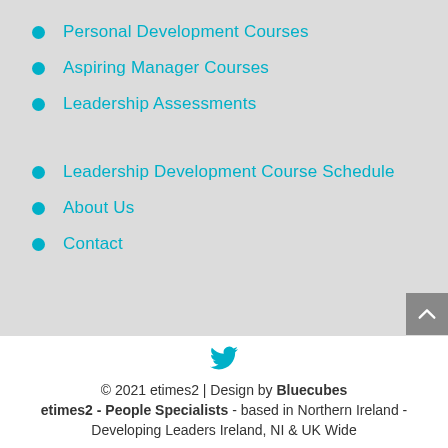Personal Development Courses
Aspiring Manager Courses
Leadership Assessments
Leadership Development Course Schedule
About Us
Contact
© 2021 etimes2 | Design by Bluecubes
etimes2 - People Specialists - based in Northern Ireland - Developing Leaders Ireland, NI & UK Wide